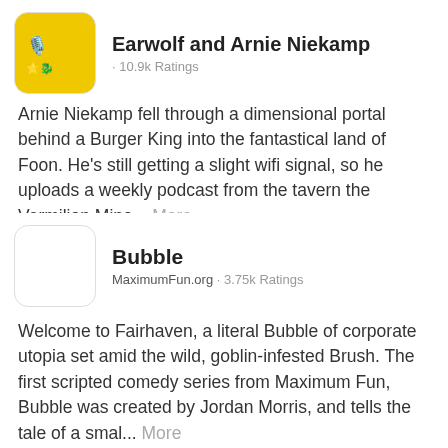[Figure (other): Podcast thumbnail with yellow background]
Earwolf and Arnie Niekamp · 10.9k Ratings
Arnie Niekamp fell through a dimensional portal behind a Burger King into the fantastical land of Foon. He's still getting a slight wifi signal, so he uploads a weekly podcast from the tavern the Vermilion Mino... More
9.8
Comedy
Bubble
MaximumFun.org · 3.75k Ratings
Welcome to Fairhaven, a literal Bubble of corporate utopia set amid the wild, goblin-infested Brush. The first scripted comedy series from Maximum Fun, Bubble was created by Jordan Morris, and tells the tale of a smal... More
9.4
Comedy